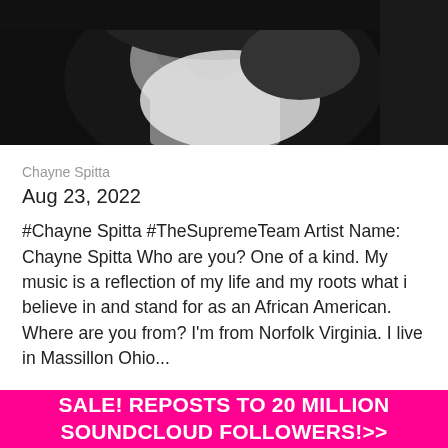[Figure (photo): Black and white close-up photo of a person, upper portion of body/face, dark tones]
Chayne Spitta
Aug 23, 2022
#Chayne Spitta #TheSupremeTeam Artist Name: Chayne Spitta Who are you? One of a kind. My music is a reflection of my life and my roots what i believe in and stand for as an African American. Where are you from? I'm from Norfolk Virginia. I live in Massillon Ohio...
[Figure (photo): Sepia/tan toned photo showing what appears to be guitar strings or musical equipment]
SALE! REPOSTS TO 20 MILLION SOUNDCLOUD FOLLOWERS!>>